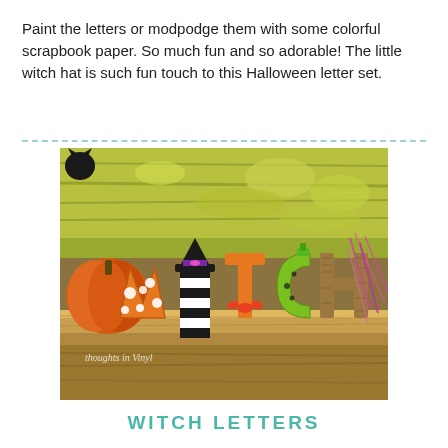Paint the letters or modpodge them with some colorful scrapbook paper. So much fun and so adorable! The little witch hat is such fun touch to this Halloween letter set.
[Figure (photo): Decorative wooden 'WITCH' letters arranged on a rustic wooden shelf. Letters are painted/decorated in Halloween colors: orange with white polka dots (W), black and white stripes with purple witch hat (I), orange and green (T), green with dots (C), brown/burlap texture (H). An orange pumpkin and pink decorative twigs are visible in background. Watermark reads 'thoughts in Vinyl' in bottom left.]
WITCH LETTERS